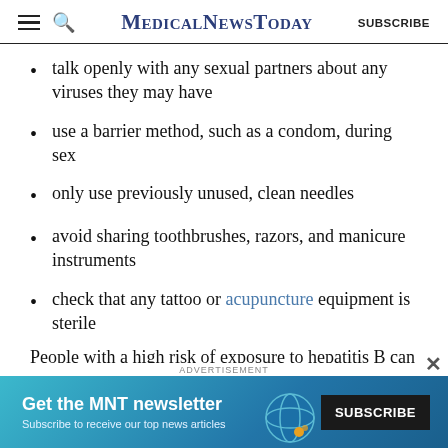MedicalNewsToday — SUBSCRIBE
talk openly with any sexual partners about any viruses they may have
use a barrier method, such as a condom, during sex
only use previously unused, clean needles
avoid sharing toothbrushes, razors, and manicure instruments
check that any tattoo or acupuncture equipment is sterile
People with a high risk of exposure to hepatitis B can ask their doctor about vaccination, but there is no
[Figure (other): Advertisement banner for MNT newsletter: 'Get the MNT newsletter. Subscribe to receive our top news articles.' with a SUBSCRIBE button]